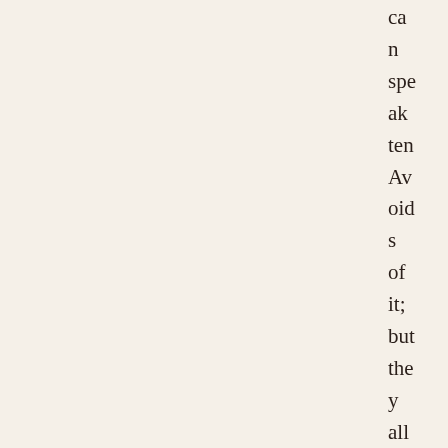can speak ten Avoids of it; but they all speak Caddo, an